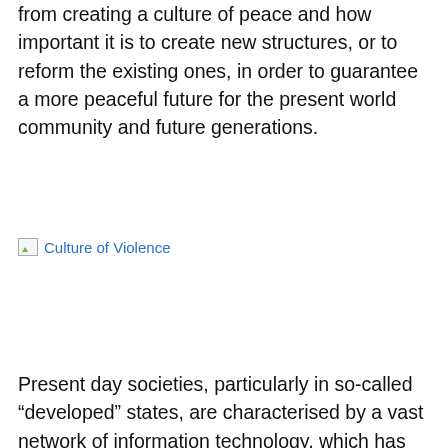from creating a culture of peace and how important it is to create new structures, or to reform the existing ones, in order to guarantee a more peaceful future for the present world community and future generations.
[Figure (illustration): Broken image placeholder with alt text 'Culture of Violence']
Present day societies, particularly in so-called “developed” states, are characterised by a vast network of information technology, which has brought people into vivid contact